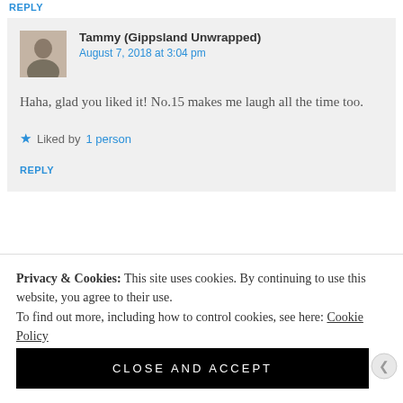REPLY
Tammy (Gippsland Unwrapped)
August 7, 2018 at 3:04 pm
Haha, glad you liked it! No.15 makes me laugh all the time too.
Liked by 1 person
REPLY
Privacy & Cookies: This site uses cookies. By continuing to use this website, you agree to their use.
To find out more, including how to control cookies, see here: Cookie Policy
CLOSE AND ACCEPT